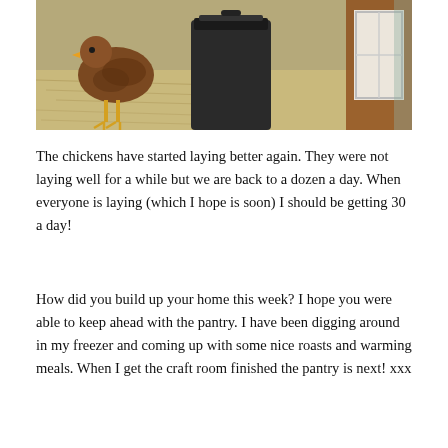[Figure (photo): A chicken standing near a large dark trash can/bin in a farmyard with straw on the ground and a wooden structure visible on the right side.]
The chickens have started laying better again.  They were not laying well for a while but we are back to a dozen a day.  When everyone is laying (which I hope is soon) I should be getting 30 a day!
How did you build up your home this week?  I hope you were able to keep ahead with the pantry.  I have been digging around in my freezer and coming up with some nice roasts and warming meals.   When I get the craft room finished the pantry is next!  xxx